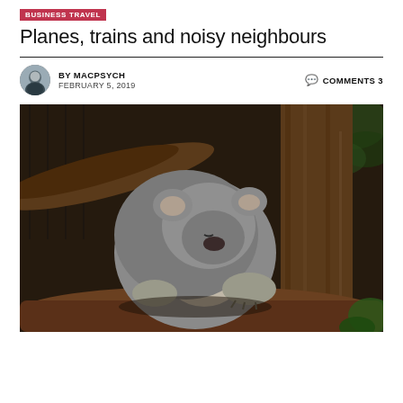BUSINESS TRAVEL
Planes, trains and noisy neighbours
BY MACPSYCH   COMMENTS 3
FEBRUARY 5, 2019
[Figure (photo): A koala sleeping curled up on a tree branch, photographed in dark, moodily lit setting with brown bark and hints of green foliage in the background.]